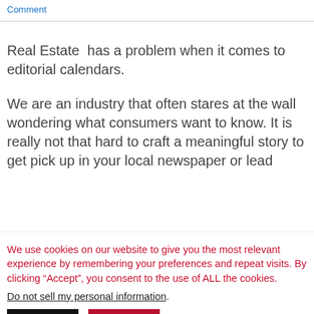Comment
Real Estate  has a problem when it comes to editorial calendars.
We are an industry that often stares at the wall wondering what consumers want to know. It is really not that hard to craft a meaningful story to get pick up in your local newspaper or lead
We use cookies on our website to give you the most relevant experience by remembering your preferences and repeat visits. By clicking “Accept”, you consent to the use of ALL the cookies.
Do not sell my personal information.